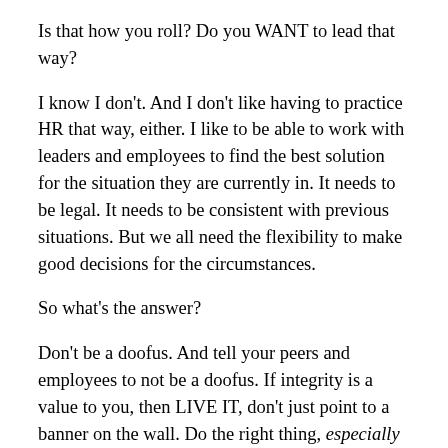Is that how you roll? Do you WANT to lead that way?
I know I don't. And I don't like having to practice HR that way, either. I like to be able to work with leaders and employees to find the best solution for the situation they are currently in. It needs to be legal. It needs to be consistent with previous situations. But we all need the flexibility to make good decisions for the circumstances.
So what's the answer?
Don't be a doofus. And tell your peers and employees to not be a doofus. If integrity is a value to you, then LIVE IT, don't just point to a banner on the wall. Do the right thing, especially when there isn't a policy telling you what to do.
We all have the power to change the system. Believe